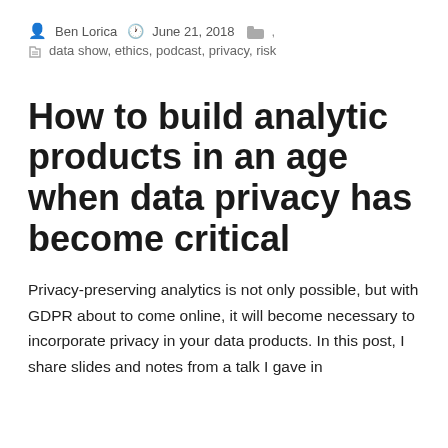Ben Lorica  June 21, 2018  ,
data show, ethics, podcast, privacy, risk
How to build analytic products in an age when data privacy has become critical
Privacy-preserving analytics is not only possible, but with GDPR about to come online, it will become necessary to incorporate privacy in your data products. In this post, I share slides and notes from a talk I gave in